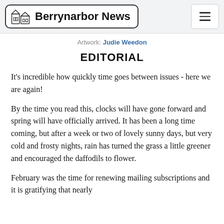Berrynarbor News
Artwork: Judie Weedon
EDITORIAL
It's incredible how quickly time goes between issues - here we are again!
By the time you read this, clocks will have gone forward and spring will have officially arrived. It has been a long time coming, but after a week or two of lovely sunny days, but very cold and frosty nights, rain has turned the grass a little greener and encouraged the daffodils to flower.
February was the time for renewing mailing subscriptions and it is gratifying that nearly